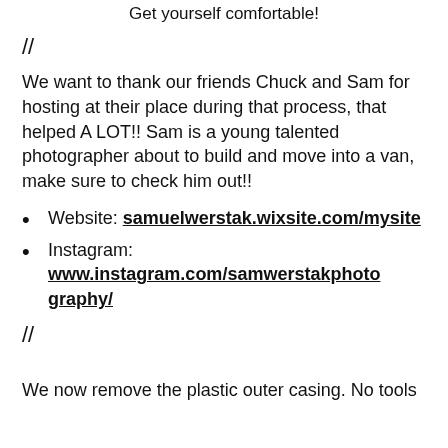Get yourself comfortable!
//
We want to thank our friends Chuck and Sam for hosting at their place during that process, that helped A LOT!! Sam is a young talented photographer about to build and move into a van, make sure to check him out!!
Website: samuelwerstak.wixsite.com/mysite
Instagram: www.instagram.com/samwerstakphotography/
//
We now remove the plastic outer casing. No tools needed, it's all thumbscrews.